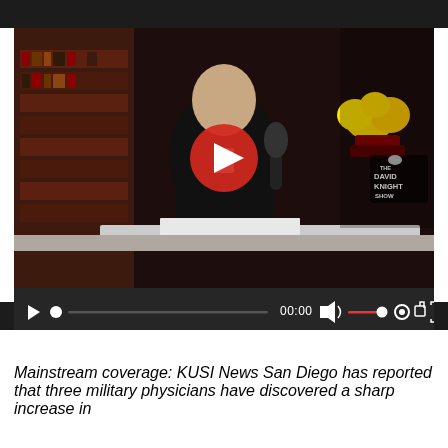[Figure (screenshot): A video player screenshot showing a man in a dark suit sitting at a desk with a microphone, bookshelves in the background, and yellow roses visible. The David Knight Show logo is visible in the lower right. A red play button overlay is centered on the video. A black controls bar at the bottom shows a play button, progress dot, timeline, 00:00 timestamp, volume icon with red volume bar, settings gear icon, share icon, and fullscreen icon.]
Mainstream coverage: KUSI News San Diego has reported that three military physicians have discovered a sharp increase in